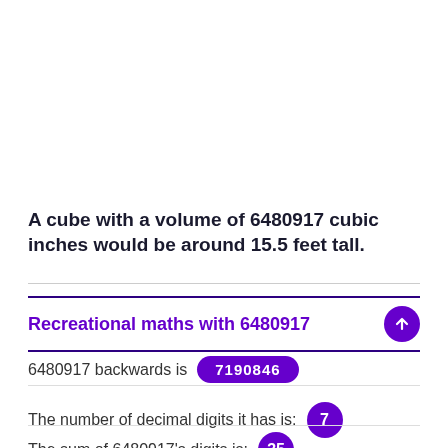A cube with a volume of 6480917 cubic inches would be around 15.5 feet tall.
Recreational maths with 6480917
6480917 backwards is 7190846
The number of decimal digits it has is: 7
The sum of 6480917's digits is: 35